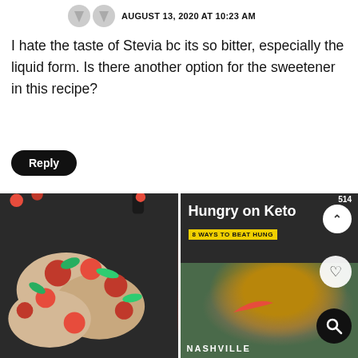AUGUST 13, 2020 AT 10:23 AM
I hate the taste of Stevia bc its so bitter, especially the liquid form. Is there another option for the sweetener in this recipe?
Reply
[Figure (photo): Food photo showing chicken with roasted cherry tomatoes and fresh basil in a cast iron skillet]
[Figure (screenshot): Video thumbnail showing 'Hungry on Keto - 8 Ways to Beat Hung...' with a person in a Nike shirt in a grocery store, Nashville text visible at bottom]